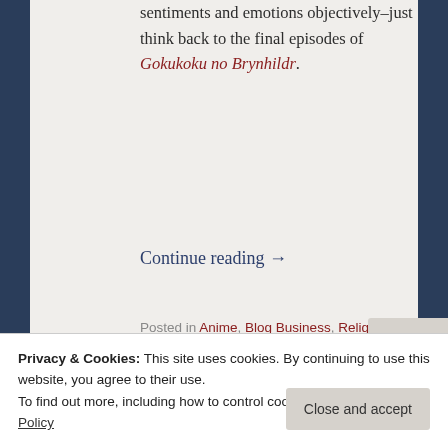sentiments and emotions objectively–just think back to the final episodes of Gokukoku no Brynhildr.
Continue reading →
Posted in Anime, Blog Business, Religion
4 Comments
Tagged Akatsuki no Yona, Ashita no Joe, Christ's Passion, Death Parade, hiatus, interior vs exterior,
Privacy & Cookies: This site uses cookies. By continuing to use this website, you agree to their use. To find out more, including how to control cookies, see here: Cookie Policy
Close and accept